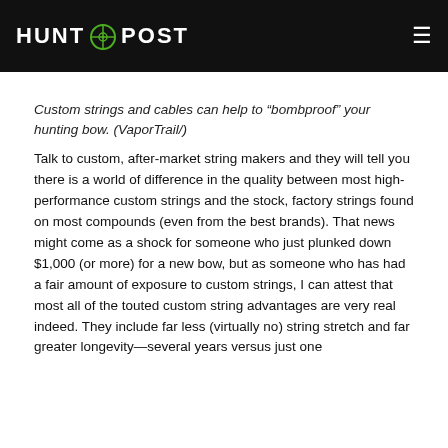HUNT POST
Custom strings and cables can help to “bombproof” your hunting bow. (VaporTrail/)
Talk to custom, after-market string makers and they will tell you there is a world of difference in the quality between most high-performance custom strings and the stock, factory strings found on most compounds (even from the best brands). That news might come as a shock for someone who just plunked down $1,000 (or more) for a new bow, but as someone who has had a fair amount of exposure to custom strings, I can attest that most all of the touted custom string advantages are very real indeed. They include far less (virtually no) string stretch and far greater longevity—several years versus just one